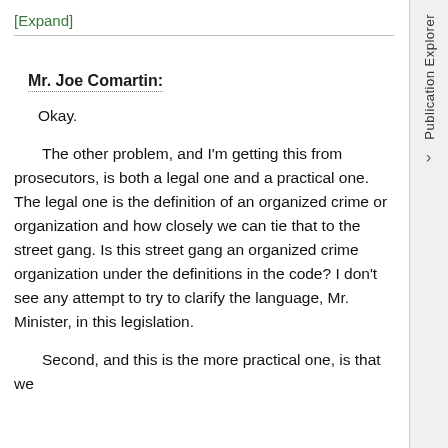[Expand]
Mr. Joe Comartin:
Okay.
The other problem, and I'm getting this from prosecutors, is both a legal one and a practical one. The legal one is the definition of an organized crime or organization and how closely we can tie that to the street gang. Is this street gang an organized crime organization under the definitions in the code? I don't see any attempt to try to clarify the language, Mr. Minister, in this legislation.
Second, and this is the more practical one, is that we